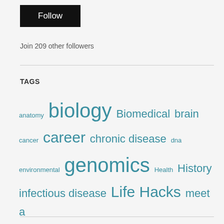Follow
Join 209 other followers
TAGS
anatomy biology Biomedical brain cancer career chronic disease dna environmental genomics Health History infectious disease Life Hacks meet a scientist memory Mental health neuroscience perception public health school science sleep Therapeutics vaccines